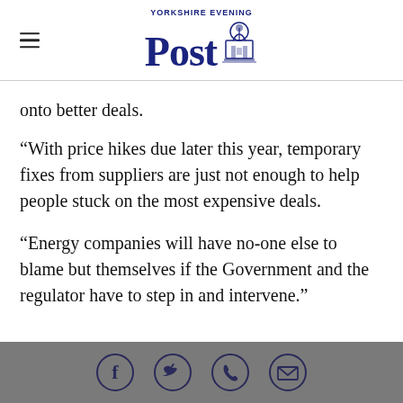Yorkshire Evening Post
onto better deals.
“With price hikes due later this year, temporary fixes from suppliers are just not enough to help people stuck on the most expensive deals.
“Energy companies will have no-one else to blame but themselves if the Government and the regulator have to step in and intervene.”
Social share icons: Facebook, Twitter, WhatsApp, Email